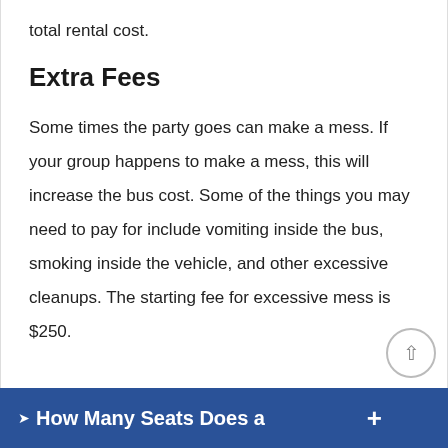total rental cost.
Extra Fees
Some times the party goes can make a mess. If your group happens to make a mess, this will increase the bus cost. Some of the things you may need to pay for include vomiting inside the bus, smoking inside the vehicle, and other excessive cleanups. The starting fee for excessive mess is $250.
❯ How Many Seats Does a +